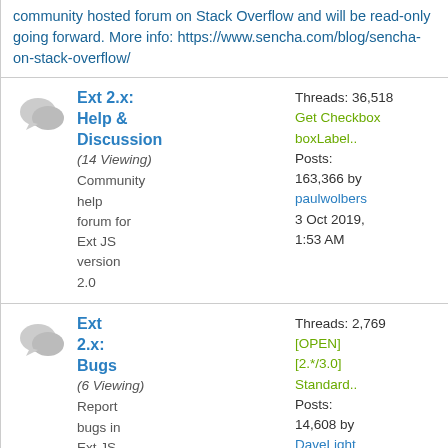community hosted forum on Stack Overflow and will be read-only going forward. More info: https://www.sencha.com/blog/sencha-on-stack-overflow/
Ext 2.x: Help & Discussion (14 Viewing) Community help forum for Ext JS version 2.0 | Threads: 36,518 Posts: 163,366 | Get Checkbox boxLabel.. by paulwolbers 3 Oct 2019, 1:53 AM
Ext 2.x: Bugs (6 Viewing) Report bugs in Ext JS version | Threads: 2,769 Posts: 14,608 | [OPEN] [2.*/3.0] Standard.. by DaveLight 5 Feb 2018, 11:32 PM